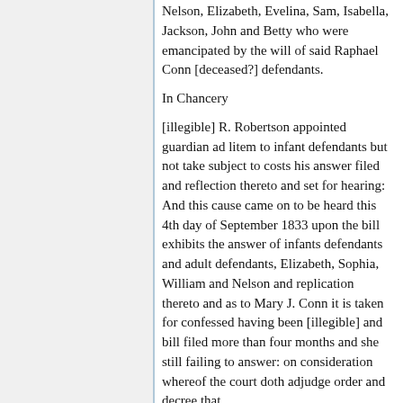Nelson, Elizabeth, Evelina, Sam, Isabella, Jackson, John and Betty who were emancipated by the will of said Raphael Conn [deceased?] defendants.
In Chancery
[illegible] R. Robertson appointed guardian ad litem to infant defendants but not take subject to costs his answer filed and reflection thereto and set for hearing: And this cause came on to be heard this 4th day of September 1833 upon the bill exhibits the answer of infants defendants and adult defendants, Elizabeth, Sophia, William and Nelson and replication thereto and as to Mary J. Conn it is taken for confessed having been [illegible] and bill filed more than four months and she still failing to answer: on consideration whereof the court doth adjudge order and decree that